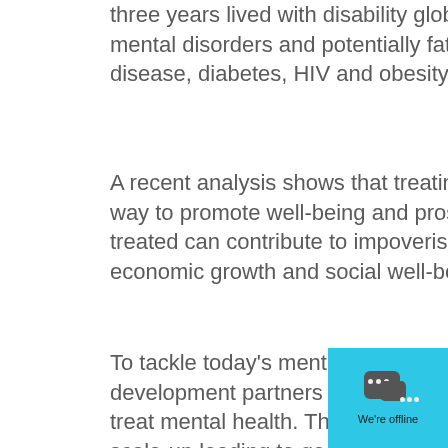three years lived with disability globally. Additionally, there is a strong link between mental disorders and potentially fatal conditions including cancer, cardiovascular disease, diabetes, HIV and obesity.
A recent analysis shows that treating anxiety and depression is a cost-effective way to promote well-being and prosperity in a community – and that failure to be treated can contribute to impoverishment at a household level and to reduced economic growth and social well-being at a national level.
To tackle today's mental health challenges, governments and international development partners should work together to fund cost-effective alternatives to treat mental health. This funding will provide a strong return on investment, with scale-up leading to good returns in restored productivity as well as